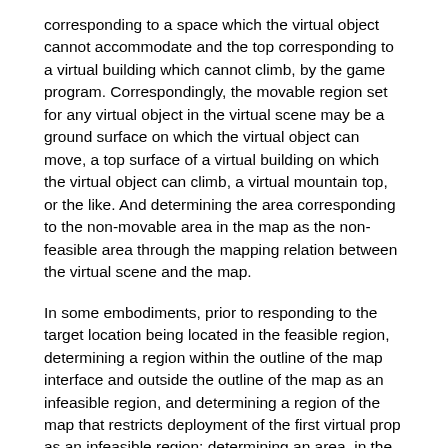corresponding to a space which the virtual object cannot accommodate and the top corresponding to a virtual building which cannot climb, by the game program. Correspondingly, the movable region set for any virtual object in the virtual scene may be a ground surface on which the virtual object can move, a top surface of a virtual building on which the virtual object can climb, a virtual mountain top, or the like. And determining the area corresponding to the non-movable area in the map as the non-feasible area through the mapping relation between the virtual scene and the map.
In some embodiments, prior to responding to the target location being located in the feasible region, determining a region within the outline of the map interface and outside the outline of the map as an infeasible region, and determining a region of the map that restricts deployment of the first virtual prop as an infeasible region; determining an area, in the map, where deployment of the first virtual prop is not limited, as a feasible area; and determining that the target position is located in the feasible region in response to the fact that the transparency of the corresponding pixel point of the target position in the map